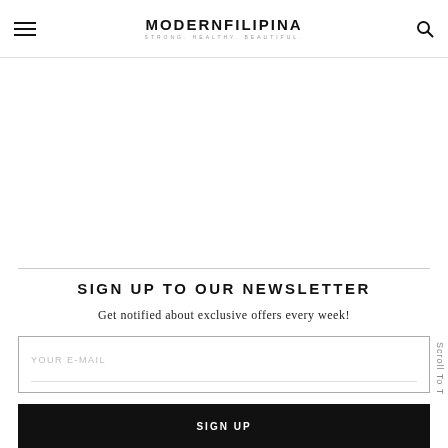MODERNFILIPINA STRONG. HEALTHY. BEAUTIFUL.
SIGN UP TO OUR NEWSLETTER
Get notified about exclusive offers every week!
YOUR E-MAIL
SIGN UP
Scroll To Top